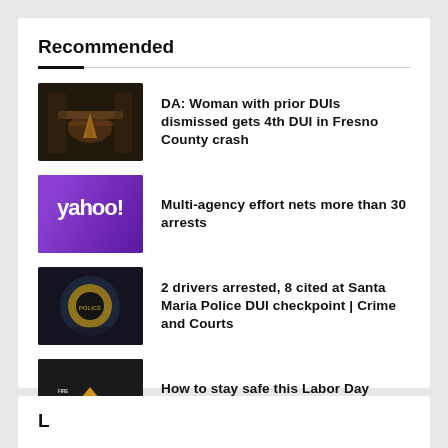Recommended
DA: Woman with prior DUIs dismissed gets 4th DUI in Fresno County crash
Multi-agency effort nets more than 30 arrests
2 drivers arrested, 8 cited at Santa Maria Police DUI checkpoint | Crime and Courts
How to stay safe this Labor Day Weekend